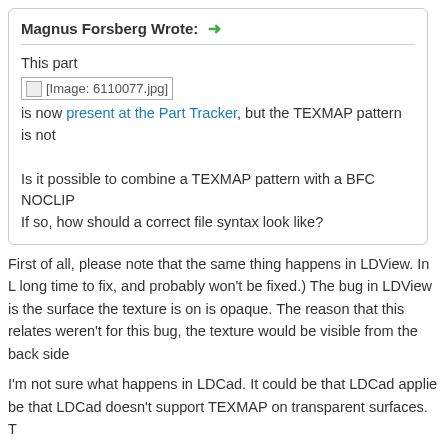Magnus Forsberg Wrote: →
This part
[Image: 6110077.jpg]
is now present at the Part Tracker, but the TEXMAP pattern is not
Is it possible to combine a TEXMAP pattern with a BFC NOCLIP
If so, how should a correct file syntax look like?
First of all, please note that the same thing happens in LDView. In L long time to fix, and probably won't be fixed.) The bug in LDView is the surface the texture is on is opaque. The reason that this relates weren't for this bug, the texture would be visible from the back side
I'm not sure what happens in LDCad. It could be that LDCad applie be that LDCad doesn't support TEXMAP on transparent surfaces. T
The following might work, but isn't appropriate in an official file, sinc
Code: